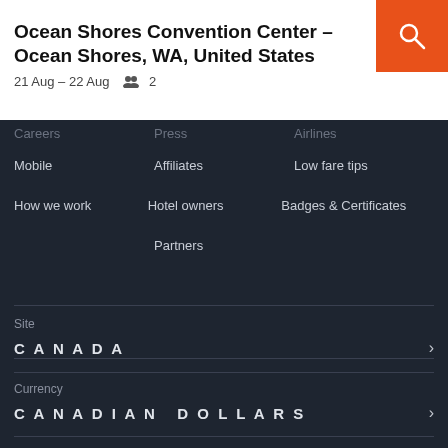Ocean Shores Convention Center – Ocean Shores, WA, United States
21 Aug – 22 Aug   2
Careers
Press
Airlines
Mobile
Affiliates
Low fare tips
How we work
Hotel owners
Badges & Certificates
Partners
Site
CANADA
Currency
CANADIAN DOLLARS